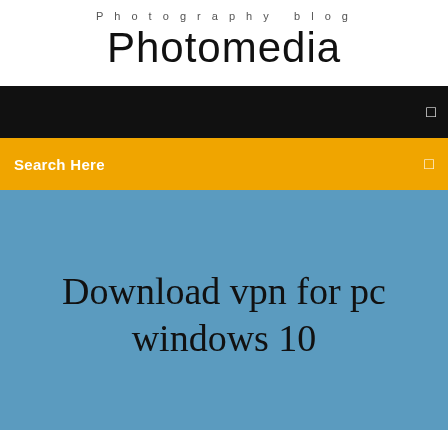Photography blog
Photomedia
[Figure (screenshot): Black navigation bar with a small white icon on the right]
Search Here
Download vpn for pc windows 10